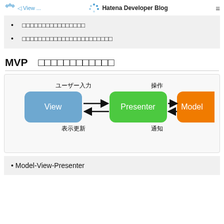Hatena Developer Blog
□□□□□□□□□□□□□□□□
□□□□□□□□□□□□□□□□□□□□□□□
MVP □□□□□□□□□□□□
[Figure (flowchart): MVP architecture diagram showing View, Presenter, and Model boxes connected with arrows. View to Presenter labeled ユーザー入力 (user input), Presenter to View labeled 表示更新 (display update), Presenter to Model labeled 操作 (operation), Model to Presenter labeled 通知 (notification) with dashed arrow.]
Model-View-Presenter